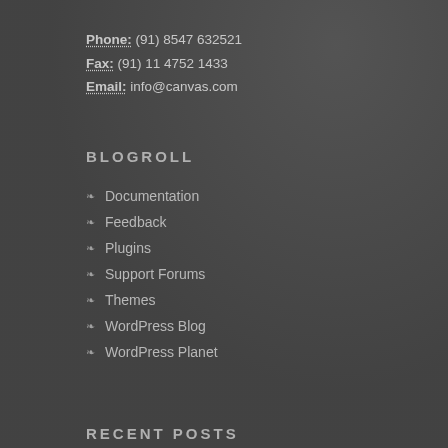Phone: (91) 8547 632521
Fax: (91) 11 4752 1433
Email: info@canvas.com
BLOGROLL
Documentation
Feedback
Plugins
Support Forums
Themes
WordPress Blog
WordPress Planet
RECENT POSTS